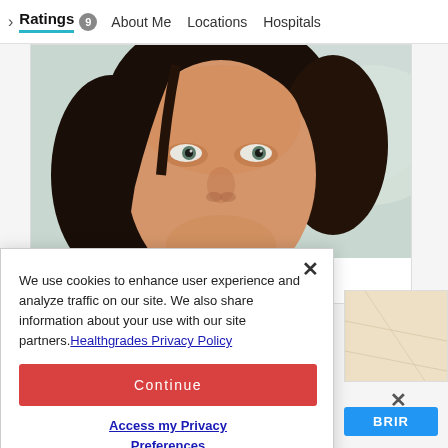Ratings 9  About Me  Locations  Hospitals
[Figure (photo): Close-up photo of a woman with dark hair, looking slightly upward, used as illustration for a depression treatment article]
What's New in Depression Treatment?
We use cookies to enhance user experience and analyze traffic on our site. We also share information about your use with our site partners. Healthgrades Privacy Policy
Continue
Access my Privacy Preferences